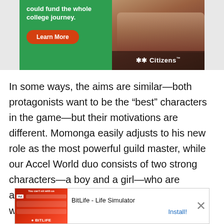[Figure (screenshot): Citizens Bank advertisement banner: green left panel with bold white text 'could fund the whole college journey.' and orange 'Learn More' button; right panel shows photo of people sitting with Citizens bank logo]
In some ways, the aims are similar—both protagonists want to be the “best” characters in the game—but their motivations are different. Momonga easily adjusts to his new role as the most powerful guild master, while our Accel World duo consists of two strong characters—a boy and a girl—who are attempting to discover the truth about a real-world item.
[Figure (screenshot): BitLife - Life Simulator advertisement at the bottom with Ad badge, app icon, title 'BitLife - Life Simulator', Install! button, and close X]